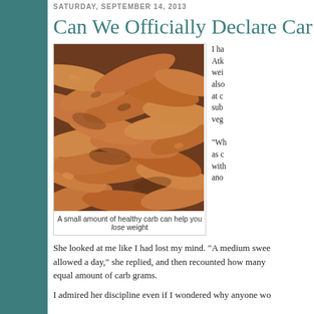SATURDAY, SEPTEMBER 14, 2013
Can We Officially Declare Car...
[Figure (photo): A pile of sweet potatoes photographed up close, showing elongated orange-brown roots clustered together.]
A small amount of healthy carb can help you lose weight
I ha... Atk... wei... also... at c... sub... veg... "Wh... as c... with... ano...
She looked at me like I had lost my mind. "A medium swee... allowed a day," she replied, and then recounted how many... equal amount of carb grams.
I admired her discipline even if I wondered why anyone wo...